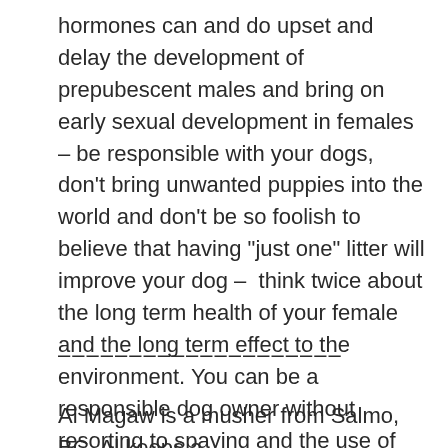hormones can and do upset and delay the development of prepubescent males and bring on early sexual development in females – be responsible with your dogs, don't bring unwanted puppies into the world and don't be so foolish to believe that having "just one" litter will improve your dog –  think twice about the long term health of your female and the long term effect to the environment. You can be a responsible dog owner without resorting to spaying and the use of environmentally damaging drugs.
———————————
Al Magaw is a musher from Salmo, BC. Al keeps a